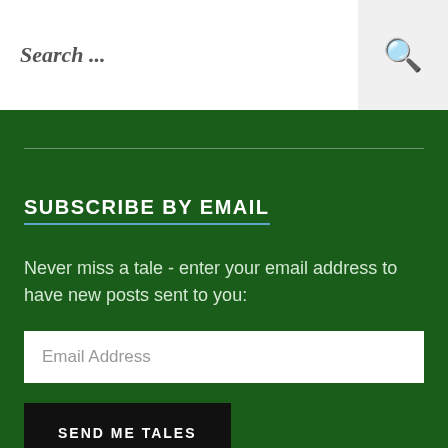[Figure (screenshot): Search bar with placeholder text 'Search ...' and a search icon on the right]
SUBSCRIBE BY EMAIL
Never miss a tale - enter your email address to have new posts sent to you:
[Figure (screenshot): Email Address input field]
[Figure (screenshot): SEND ME TALES button]
Join 186 other followers